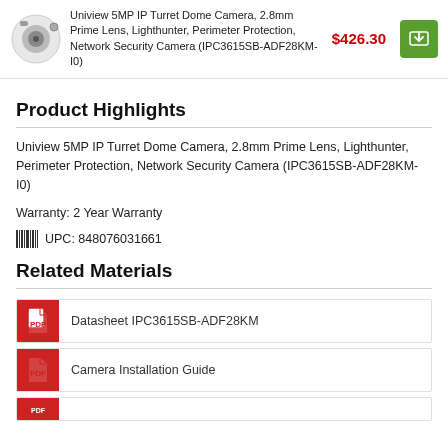Uniview 5MP IP Turret Dome Camera, 2.8mm Prime Lens, Lighthunter, Perimeter Protection, Network Security Camera (IPC3615SB-ADF28KM-I0) $426.30
Product Highlights
Uniview 5MP IP Turret Dome Camera, 2.8mm Prime Lens, Lighthunter, Perimeter Protection, Network Security Camera (IPC3615SB-ADF28KM-I0)
Warranty: 2 Year Warranty
UPC: 848076031661
Related Materials
Datasheet IPC3615SB-ADF28KM
Camera Installation Guide